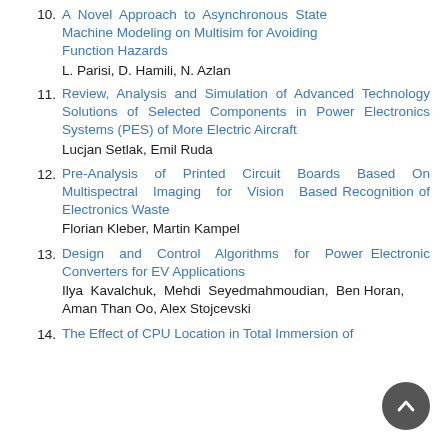10. A Novel Approach to Asynchronous State Machine Modeling on Multisim for Avoiding Function Hazards
L. Parisi, D. Hamili, N. Azlan
11. Review, Analysis and Simulation of Advanced Technology Solutions of Selected Components in Power Electronics Systems (PES) of More Electric Aircraft
Lucjan Setlak, Emil Ruda
12. Pre-Analysis of Printed Circuit Boards Based On Multispectral Imaging for Vision Based Recognition of Electronics Waste
Florian Kleber, Martin Kampel
13. Design and Control Algorithms for Power Electronic Converters for EV Applications
Ilya Kavalchuk, Mehdi Seyedmahmoudian, Ben Horan, Aman Than Oo, Alex Stojcevski
14. The Effect of CPU Location in Total Immersion of